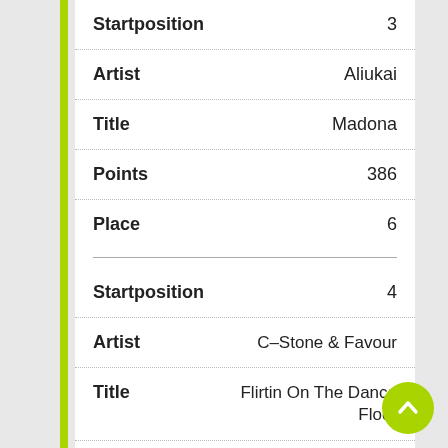Startposition    3
Artist    Aliukai
Title    Madona
Points    386
Place    6
Startposition    4
Artist    C-Stone & Favour
Title    Flirtin On The Dance Floor
Points    1228
Place